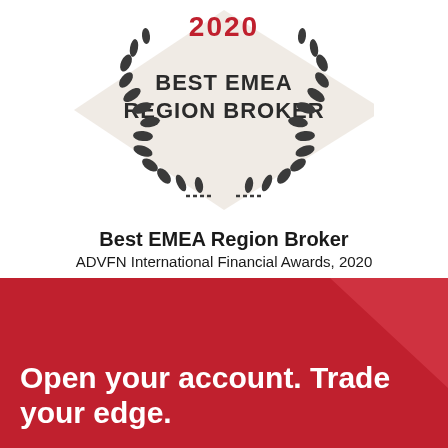[Figure (logo): Award badge with laurel wreath, showing 'BEST EMEA REGION BROKER' text inside, with a beige/cream background diamond shape behind the laurel wreath.]
Best EMEA Region Broker
ADVFN International Financial Awards, 2020
Open your account. Trade your edge.